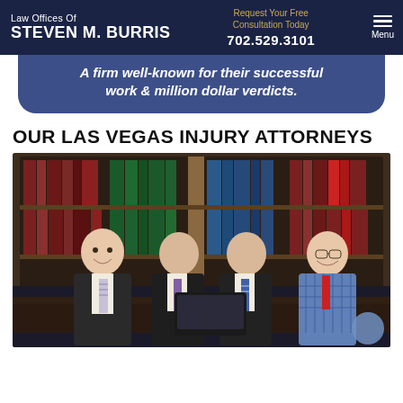Law Offices Of STEVEN M. BURRIS | Request Your Free Consultation Today | 702.529.3101 | Menu
A firm well-known for their successful work & million dollar verdicts.
OUR LAS VEGAS INJURY ATTORNEYS
[Figure (photo): Four male attorneys seated at a conference table in front of a large bookshelf filled with law books, smiling at the camera. One man in a blue checked shirt and red tie on the right.]